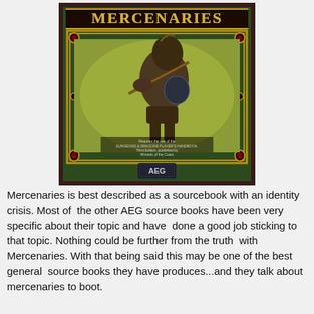[Figure (illustration): Book cover of 'Mercenaries' by AEG. Dark green background with gold/brown decorative frame. Center image shows an armored warrior/mercenary holding a weapon. Text on cover reads 'Requires the use of the DUNGEONS & DRAGONS PLAYER'S HANDBOOK, Third Edition, published by Wizards of the Coast'. AEG logo at bottom.]
Mercenaries is best described as a sourcebook with an identity crisis. Most of the other AEG source books have been very specific about their topic and have done a good job sticking to that topic. Nothing could be further from the truth with Mercenaries. With that being said this may be one of the best general source books they have produces...and they talk about mercenaries to boot.